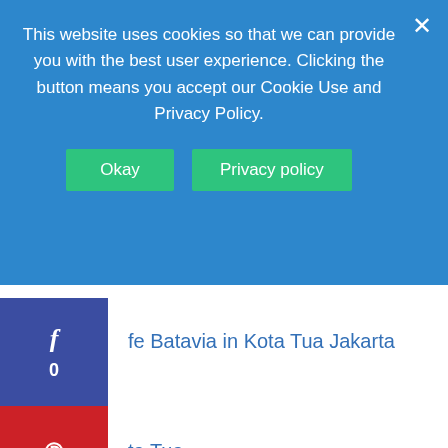This website uses cookies so that we can provide you with the best user experience. Clicking the button means you accept our Cookie Use and Privacy Policy.
Okay  Privacy policy  ×
fe Batavia in Kota Tua Jakarta
0
ta Tua
1
tional Gallery of Indonesia
Chinatown in Jakarta
Ragunan Zoo